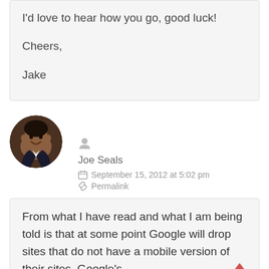I'd love to hear how you go, good luck!

Cheers,

Jake
[Figure (photo): Circular avatar photo of Joe Seals, a man in a suit smiling]
Joe Seals
September 15, 2012 at 5:02 pm
Permalink
From what I have read and what I am being told is that at some point Google will drop sites that do not have a mobile version of their sites. Google's